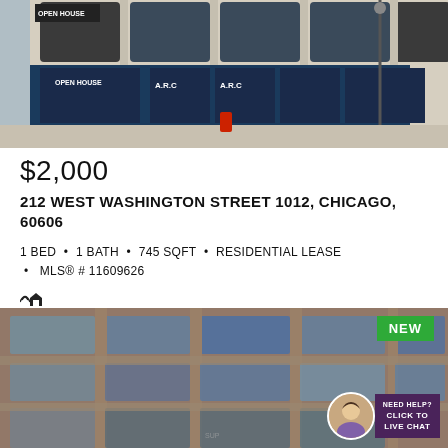[Figure (photo): Street-level photo of a commercial building storefront with blue signage reading 'OPEN HOUSE' and 'A.R.C.' on the windows, stone facade, street lamp visible, fire hydrant on sidewalk.]
$2,000
212 WEST WASHINGTON STREET 1012, CHICAGO, 60606
1 BED • 1 BATH • 745 SQFT • RESIDENTIAL LEASE • MLS® # 11609626
[Figure (photo): Exterior photo of a multi-story brick and stone building with large windows, ornate facade, viewed from street level. NEW badge in upper right corner. Live chat widget with agent photo in lower right corner.]